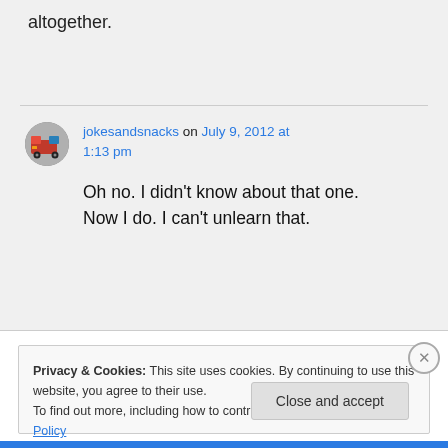altogether.
jokesandsnacks on July 9, 2012 at 1:13 pm

Oh no. I didn't know about that one. Now I do. I can't unlearn that.
Privacy & Cookies: This site uses cookies. By continuing to use this website, you agree to their use.
To find out more, including how to control cookies, see here: Cookie Policy
Close and accept